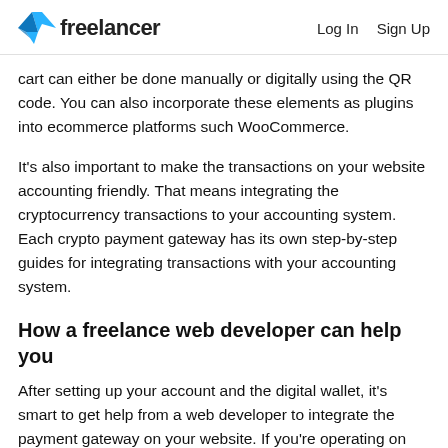freelancer  Log In  Sign Up
cart can either be done manually or digitally using the QR code. You can also incorporate these elements as plugins into ecommerce platforms such WooCommerce.
It's also important to make the transactions on your website accounting friendly. That means integrating the cryptocurrency transactions to your accounting system. Each crypto payment gateway has its own step-by-step guides for integrating transactions with your accounting system.
How a freelance web developer can help you
After setting up your account and the digital wallet, it's smart to get help from a web developer to integrate the payment gateway on your website. If you're operating on